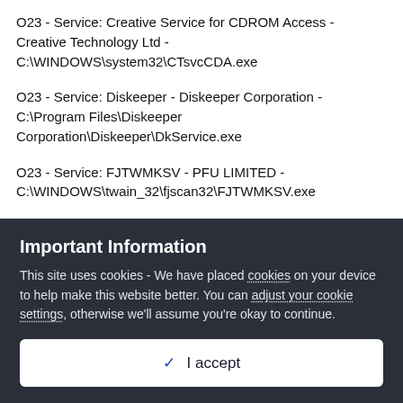O23 - Service: Creative Service for CDROM Access - Creative Technology Ltd - C:\WINDOWS\system32\CTsvcCDA.exe
O23 - Service: Diskeeper - Diskeeper Corporation - C:\Program Files\Diskeeper Corporation\Diskeeper\DkService.exe
O23 - Service: FJTWMKSV - PFU LIMITED - C:\WINDOWS\twain_32\fjscan32\FJTWMKSV.exe
O23 - Service: FLEXnet Licensing Service - Macrovision Europe Ltd. - C:\Program Files\Common Files\Macrovision Shared\FLEXnet Publisher\FNPLicensingService.exe
O23 - Service: Google Desktop Manager 5.7.806.10245 (GoogleDesktopManager-061008-081103) - Google - C:\Program...
Important Information
This site uses cookies - We have placed cookies on your device to help make this website better. You can adjust your cookie settings, otherwise we'll assume you're okay to continue.
✓  I accept